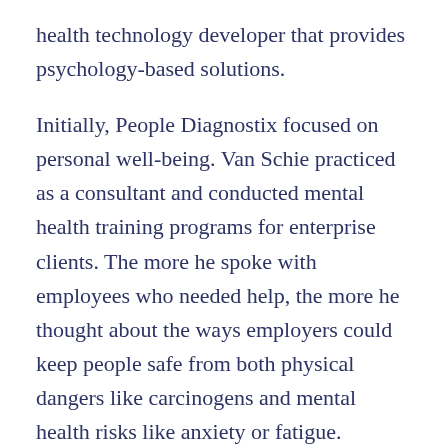health technology developer that provides psychology-based solutions.
Initially, People Diagnostix focused on personal well-being. Van Schie practiced as a consultant and conducted mental health training programs for enterprise clients. The more he spoke with employees who needed help, the more he thought about the ways employers could keep people safe from both physical dangers like carcinogens and mental health risks like anxiety or fatigue.
“It doesn’t matter how good your sleep quality is, or how much mindfulness you practice, if